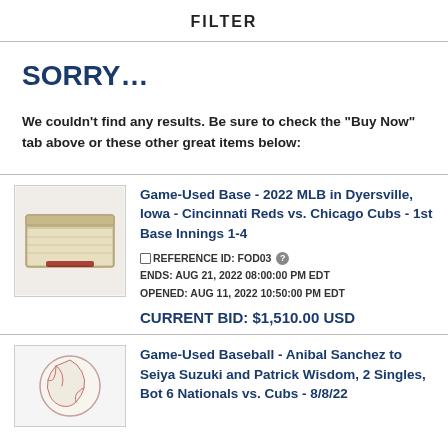FILTER
SORRY...
We couldn't find any results. Be sure to check the "Buy Now" tab above or these other great items below:
Game-Used Base - 2022 MLB in Dyersville, Iowa - Cincinnati Reds vs. Chicago Cubs - 1st Base Innings 1-4
REFERENCE ID: FOD03
ENDS: AUG 21, 2022 08:00:00 PM EDT
OPENED: AUG 11, 2022 10:50:00 PM EDT
CURRENT BID: $1,510.00 USD
Game-Used Baseball - Anibal Sanchez to Seiya Suzuki and Patrick Wisdom, 2 Singles, Bot 6 Nationals vs. Cubs - 8/8/22